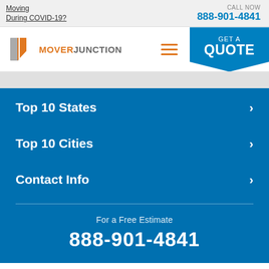Moving During COVID-19?
CALL NOW 888-901-4841
[Figure (logo): Mover Junction logo with orange and gray M icon and text MOVER JUNCTION]
Top 10 States
Top 10 Cities
Contact Info
For a Free Estimate
888-901-4841